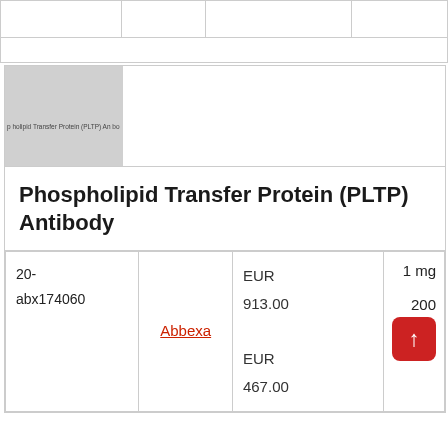|  |  |  |  |
| --- | --- | --- | --- |
|  |  |  |  |
|  |  |  |  |
[Figure (photo): Gray placeholder image with text 'Phospholipid Transfer Protein (PLTP) Antibody' overlaid]
Phospholipid Transfer Protein (PLTP) Antibody
| Catalog # | Supplier | Price | Size/Qty |
| --- | --- | --- | --- |
| 20-abx174060 | Abbexa | EUR 913.00
EUR 467.00 | 1 mg
200 |